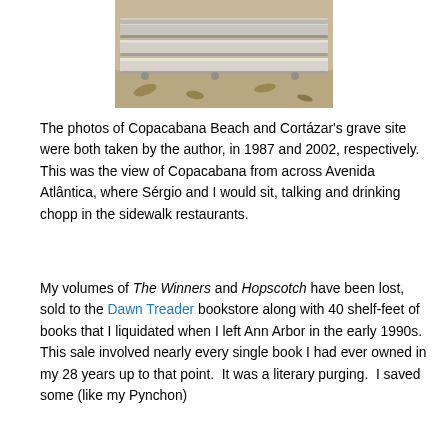[Figure (photo): A photo of what appears to be stacked stone or concrete slabs resting on a ground surface with scattered leaves visible.]
The photos of Copacabana Beach and Cortázar's grave site were both taken by the author, in 1987 and 2002, respectively.  This was the view of Copacabana from across Avenida Atlântica, where Sérgio and I would sit, talking and drinking chopp in the sidewalk restaurants.
My volumes of The Winners and Hopscotch have been lost, sold to the Dawn Treader bookstore along with 40 shelf-feet of books that I liquidated when I left Ann Arbor in the early 1990s.  This sale involved nearly every single book I had ever owned in my 28 years up to that point.  It was a literary purging.  I saved some (like my Pynchon)